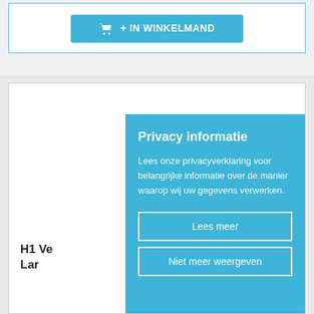[Figure (screenshot): Add to cart button with shopping cart icon and text '+ IN WINKELMAND' on a light blue background, inside a bordered white card]
[Figure (screenshot): Product card partially visible showing product title 'H1 Ve... Lar...' and price €54,95 with a privacy information modal overlay]
Privacy informatie
Lees onze privacyverklaring voor belangrijke informatie over de manier waarop wij uw gegevens verwerken.
Lees meer
Niet meer weergeven
H1 Ve... Lar...
€54,95